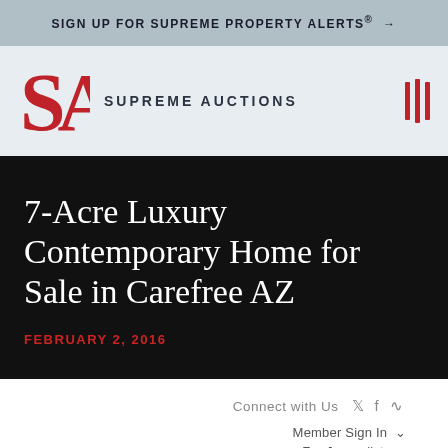SIGN UP FOR SUPREME PROPERTY ALERTS® →
[Figure (logo): Supreme Auctions logo with red SA monogram and text SUPREME AUCTIONS, with red vertical bars menu icon on right]
7-Acre Luxury Contemporary Home for Sale in Carefree AZ
FEBRUARY 2, 2016
Connect with Us  Member Sign In ∨  For Journalists >